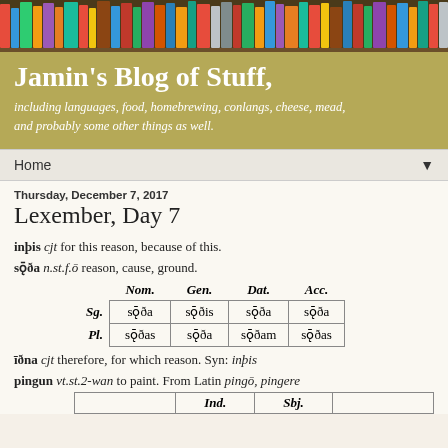[Figure (photo): Colorful bookshelf header image with books of various colors]
Jamin's Blog of Stuff,
including languages, food, homebrewing, conlangs, cheese, mead, and probably some other things as well.
Home
Thursday, December 7, 2017
Lexember, Day 7
inþis cjt for this reason, because of this.
sǭða n.st.f.ō reason, cause, ground.
|  | Nom. | Gen. | Dat. | Acc. |
| --- | --- | --- | --- | --- |
| Sg. | sǭða | sǭðis | sǭða | sǭða |
| Pl. | sǭðas | sǭða | sǭðam | sǭðas |
īðna cjt therefore, for which reason. Syn: inþis
pingun vt.st.2-wan to paint. From Latin pingō, pingere
|  | Ind. | Sbj. |  |
| --- | --- | --- | --- |